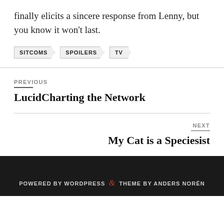finally elicits a sincere response from Lenny, but you know it won't last.
SITCOMS
SPOILERS
TV
PREVIOUS
LucidCharting the Network
NEXT
My Cat is a Speciesist
POWERED BY WORDPRESS & THEME BY ANDERS NORÉN